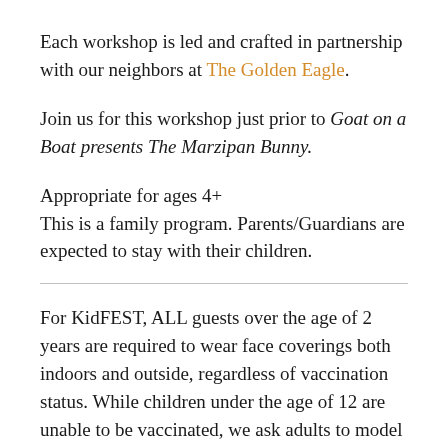Each workshop is led and crafted in partnership with our neighbors at The Golden Eagle.
Join us for this workshop just prior to Goat on a Boat presents The Marzipan Bunny.
Appropriate for ages 4+
This is a family program. Parents/Guardians are expected to stay with their children.
For KidFEST, ALL guests over the age of 2 years are required to wear face coverings both indoors and outside, regardless of vaccination status. While children under the age of 12 are unable to be vaccinated, we ask adults to model the behavior that is expected of children. Your patience and understanding is appreciated in keeping our